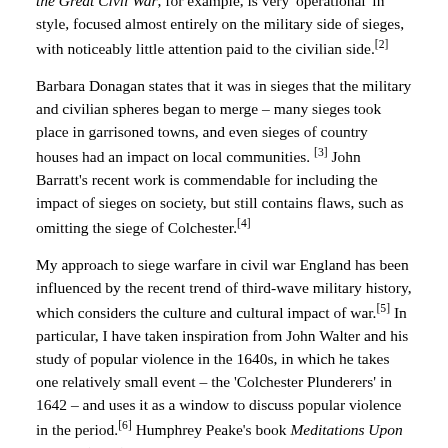the Great Civil War, for example, is very 'operational' in style, focused almost entirely on the military side of sieges, with noticeably little attention paid to the civilian side.[2]
Barbara Donagan states that it was in sieges that the military and civilian spheres began to merge – many sieges took place in garrisoned towns, and even sieges of country houses had an impact on local communities. [3] John Barratt's recent work is commendable for including the impact of sieges on society, but still contains flaws, such as omitting the siege of Colchester.[4]
My approach to siege warfare in civil war England has been influenced by the recent trend of third-wave military history, which considers the culture and cultural impact of war.[5] In particular, I have taken inspiration from John Walter and his study of popular violence in the 1640s, in which he takes one relatively small event – the 'Colchester Plunderers' in 1642 – and uses it as a window to discuss popular violence in the period.[6] Humphrey Peake's book Meditations Upon a Seige (1646) will be the lens I use to examine siege warfare and its impact, not only militarily but also from a socio-economic